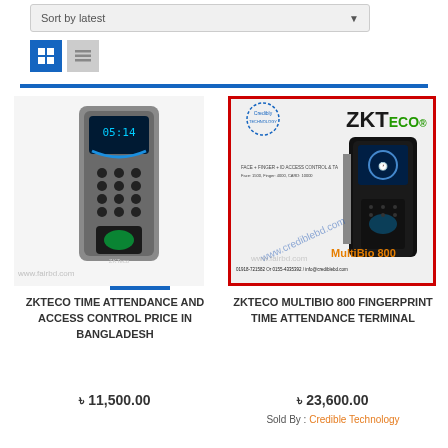Sort by latest
[Figure (screenshot): Grid and list view toggle icons]
[Figure (photo): ZKTeco fingerprint time attendance and access control device (silver/grey keypad unit with fingerprint scanner)]
ZKTECO TIME ATTENDANCE AND ACCESS CONTROL PRICE IN BANGLADESH
৳ 11,500.00
[Figure (photo): ZKTeco MultiBio 800 fingerprint time attendance terminal product image with Credible Technology branding, red border, ZKTeco logo, face+finger+ID access control specs, contact info]
ZKTECO MULTIBIO 800 FINGERPRINT TIME ATTENDANCE TERMINAL
৳ 23,600.00
Sold By : Credible Technology